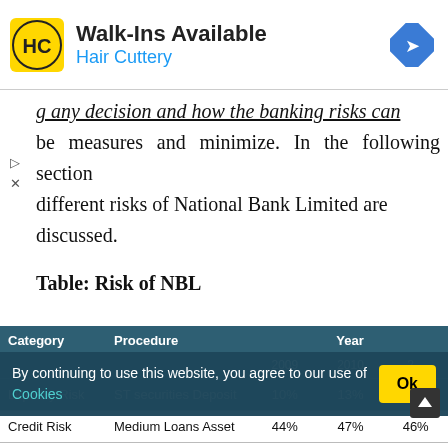[Figure (advertisement): Hair Cuttery advertisement banner with logo showing 'HC' in yellow circle, text 'Walk-Ins Available' and 'Hair Cuttery' in blue, and a blue diamond navigation icon]
g any decision and how the banking risks can be measures and minimize. In the following section different risks of National Bank Limited are discussed.
Table: Risk of NBL
| Category | Procedure | Year |  |  |
| --- | --- | --- | --- | --- |
|  |  | 2009 | 2010 | 2... |
| Liquidity Risk | ST securities Deposit | 10% | 13% | 14% |
| Credit Risk | Medium Loans Asset | 44% | 47% | 46% |
| Interest Risk | I.S Asset |  |  |  |